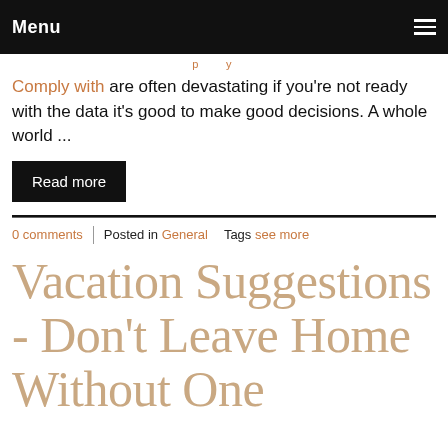Menu
Comply with are often devastating if you're not ready with the data it's good to make good decisions. A whole world ...
Read more
0 comments  |  Posted in General   Tags see more
Vacation Suggestions - Don't Leave Home Without One